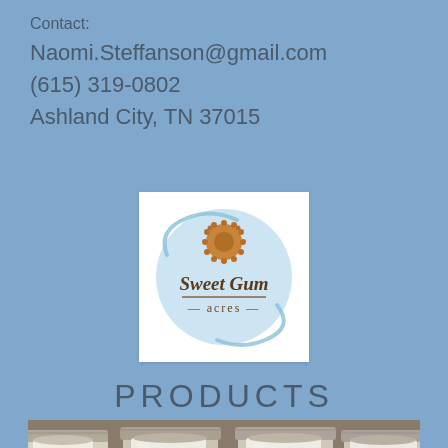Contact:
Naomi.Steffanson@gmail.com
(615) 319-0802
Ashland City, TN 37015
[Figure (logo): Sweet Gum Acres logo: circular light blue design with a brown sunflower/gum ball in the center and the text 'Sweet Gum acres' in script]
PRODUCTS
[Figure (photo): Photo of several mason jars filled with white/cream liquid, likely milk or a dairy product, viewed from the front]